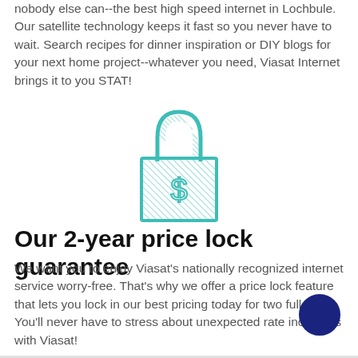nobody else can--the best high speed internet in Lochbule. Our satellite technology keeps it fast so you never have to wait. Search recipes for dinner inspiration or DIY blogs for your next home project--whatever you need, Viasat Internet brings it to you STAT!
[Figure (illustration): A padlock icon with diagonal hatching pattern and a dollar sign in the center, rendered in teal/cyan color outline style.]
Our 2-year price lock guarantee
We want you to enjoy Viasat's nationally recognized internet service worry-free. That's why we offer a price lock feature that lets you lock in our best pricing today for two full years. You'll never have to stress about unexpected rate increases with Viasat!